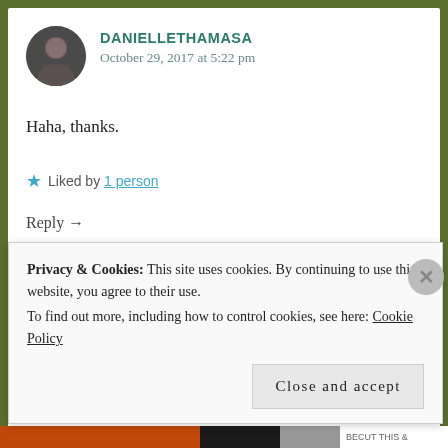DANIELLETHAMASA
October 29, 2017 at 5:22 pm
Haha, thanks.
★ Liked by 1 person
Reply →
KAILYN KAUSEN
October 29, 2017 at 3:58 pm
Privacy & Cookies: This site uses cookies. By continuing to use this website, you agree to their use. To find out more, including how to control cookies, see here: Cookie Policy
Close and accept